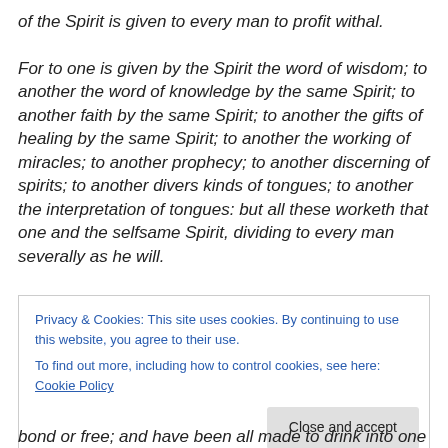of the Spirit is given to every man to profit withal.
For to one is given by the Spirit the word of wisdom; to another the word of knowledge by the same Spirit; to another faith by the same Spirit; to another the gifts of healing by the same Spirit; to another the working of miracles; to another prophecy; to another discerning of spirits; to another divers kinds of tongues; to another the interpretation of tongues: but all these worketh that one and the selfsame Spirit, dividing to every man severally as he will.
Privacy & Cookies: This site uses cookies. By continuing to use this website, you agree to their use.
To find out more, including how to control cookies, see here: Cookie Policy
[Close and accept]
bond or free; and have been all made to drink into one